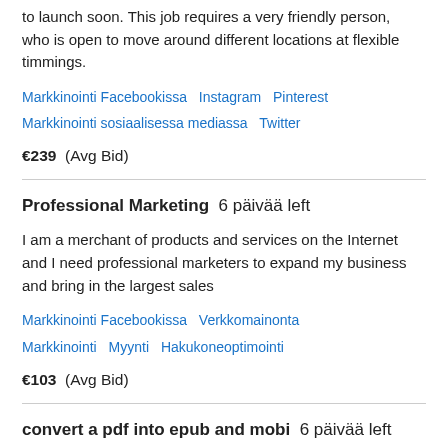to launch soon. This job requires a very friendly person, who is open to move around different locations at flexible timmings.
Markkinointi Facebookissa  Instagram  Pinterest  Markkinointi sosiaalisessa mediassa  Twitter
€239  (Avg Bid)
Professional Marketing  6 päivää left
I am a merchant of products and services on the Internet and I need professional marketers to expand my business and bring in the largest sales
Markkinointi Facebookissa  Verkkomainonta  Markkinointi  Myynti  Hakukoneoptimointi
€103  (Avg Bid)
convert a pdf into epub and mobi  6 päivää left